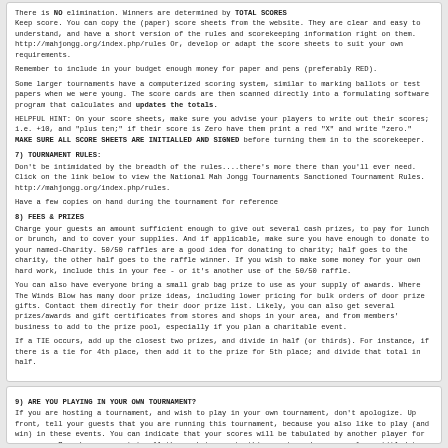There is NO elimination. Winners are determined by TOTAL SCORES
Keep score. You can copy the (paper) score sheets from the website. They are clear and easy to understand, and have a short version of the rules and scorekeeping information right on them.
http://mahjongg.org/index.php/rules Or, develop or adapt the score sheets to suit your own requirements.
Remember to include in your budget enough money for paper and pens (preferably RED).
Some larger tournaments have a computerized scoring system, similar to marking ballots or test papers when we were young. The score cards are then scanned directly into a formulating software program that calculates and updates the totals.
HELPFUL HINT: On your score sheets, make sure you advise your players to write out their scores; i.e. +10, and "plus ten;" if their score is Zero have them print a red "X" and write "zero." MAKE SURE ALL SCORE SHEETS ARE INITIALLED AND SIGNED before turning them in to the scorekeeper.
7) TOURNAMENT RULES:
Don't be intimidated by the breadth of the rules....there's more there than you'll ever need. Click on the link below to view the National Mah Jongg Tournaments Sanctioned Tournament Rules.
http://mahjongg.org/index.php/rules.
Have a few copies on hand during the tournament for reference
8) FEES & PRIZES
Charge your guests an amount sufficient enough to give out several cash prizes, to pay for lunch or brunch, and to cover your supplies. And if applicable, make sure you have enough to donate to your named-Charity. 50/50 raffles are a good idea for donating to charity; half goes to the charity, the other half goes to the raffle winner. If you wish to make some money for your own hard work, include this in your fee - or it's another use of the 50/50 raffle.
You can also have everyone bring a small grab bag prize to use as your supply of awards. Where The Winds Blow has many door prize ideas, including lower pricing for bulk orders of door prize gifts. Contact them directly for their door prize list. Likely, you can also get several prizes/awards and gift certificates from stores and shops in your area, and from members' business to add to the prize pool, especially if you plan a charitable event.
If a TIE occurs, add up the closest two prizes, and divide in half (or thirds). For instance, if there is a tie for 4th place, then add it to the prize for 5th place; and divide that total in half.
9) ARE YOU PLAYING IN YOUR OWN TOURNAMENT?
If you are hosting a tournament, and wish to play in your own tournament, don't apologize. Up front, tell your guests that you are running this tournament, because you also like to play (and win) in these events. You can indicate that your scores will be tabulated by another player for accuracy. Remember, you put in all the work to create this event; and you are also entitled to win. Guests who are rude enough to complain about this are rather ungracious.
10) ALTERNATES AND SUBS: